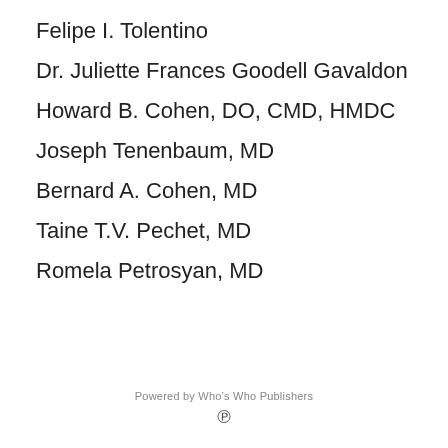Felipe I. Tolentino
Dr. Juliette Frances Goodell Gavaldon
Howard B. Cohen, DO, CMD, HMDC
Joseph Tenenbaum, MD
Bernard A. Cohen, MD
Taine T.V. Pechet, MD
Romela Petrosyan, MD
Powered by Who's Who Publishers